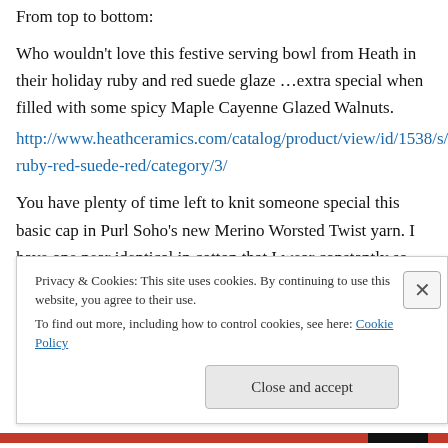From top to bottom:
Who wouldn't love this festive serving bowl from Heath in their holiday ruby and red suede glaze …extra special when filled with some spicy Maple Cayenne Glazed Walnuts.
http://www.heathceramics.com/catalog/product/view/id/1538/s/bowl-ruby-red-suede-red/category/3/
You have plenty of time left to knit someone special this basic cap in Purl Soho's new Merino Worsted Twist yarn. I have one near identical in cotton that I wear constantly so
Privacy & Cookies: This site uses cookies. By continuing to use this website, you agree to their use.
To find out more, including how to control cookies, see here: Cookie Policy
Close and accept